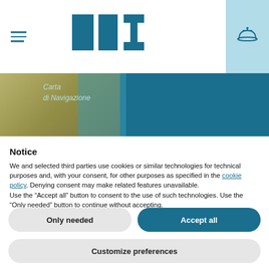[Figure (logo): HHI logo in teal/dark blue block letters at top center of header]
[Figure (screenshot): Banner image with teal background showing 'Carta di Navigazione' text over a partial nautical chart image]
Notice
We and selected third parties use cookies or similar technologies for technical purposes and, with your consent, for other purposes as specified in the cookie policy. Denying consent may make related features unavailable.
Use the “Accept all” button to consent to the use of such technologies. Use the “Only needed” button to continue without accepting.
Only needed
Accept all
Customize preferences